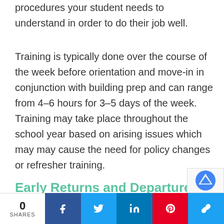procedures your student needs to understand in order to do their job well.
Training is typically done over the course of the week before orientation and move-in in conjunction with building prep and can range from 4–6 hours for 3–5 days of the week. Training may take place throughout the school year based on arising issues which may may cause the need for policy changes or refresher training.
Early Returns and Departures
0 SHARES | Facebook | Twitter | LinkedIn | Pinterest | Link